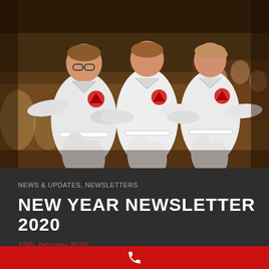[Figure (photo): Three young children in white karate gi uniforms with red triangle logo patches, performing a punching kata move in unison at a karate event. The child on the left wears glasses. There is an audience seated in the background.]
NEWS & UPDATES, NEWSLETTERS
NEW YEAR NEWSLETTER 2020
15th January 2020